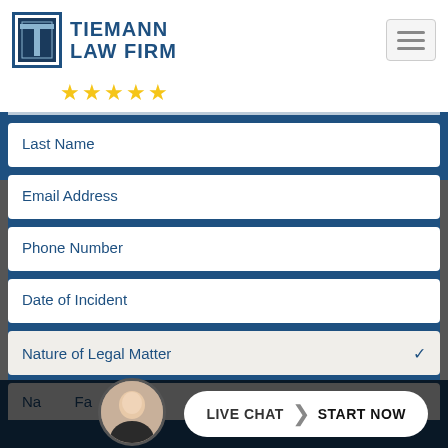[Figure (logo): Tiemann Law Firm logo with T emblem and five gold stars]
Last Name
Email Address
Phone Number
Date of Incident
Nature of Legal Matter
Na... Fa...
LIVE CHAT  START NOW